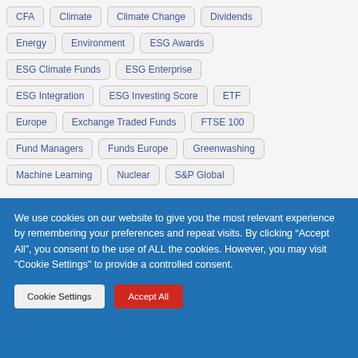CFA
Climate
Climate Change
Dividends
Energy
Environment
ESG Awards
ESG Climate Funds
ESG Enterprise
ESG Integration
ESG Investing Score
ETF
Europe
Exchange Traded Funds
FTSE 100
Fund Managers
Funds Europe
Greenwashing
Machine Learning
Nuclear
S&P Global
We use cookies on our website to give you the most relevant experience by remembering your preferences and repeat visits. By clicking “Accept All”, you consent to the use of ALL the cookies. However, you may visit "Cookie Settings" to provide a controlled consent.
Cookie Settings | Accept All